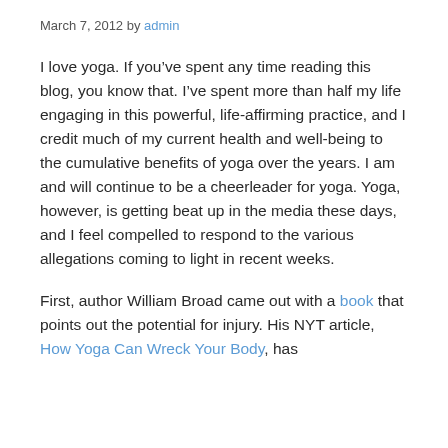March 7, 2012 by admin
I love yoga. If you've spent any time reading this blog, you know that. I've spent more than half my life engaging in this powerful, life-affirming practice, and I credit much of my current health and well-being to the cumulative benefits of yoga over the years. I am and will continue to be a cheerleader for yoga. Yoga, however, is getting beat up in the media these days, and I feel compelled to respond to the various allegations coming to light in recent weeks.
First, author William Broad came out with a book that points out the potential for injury. His NYT article, How Yoga Can Wreck Your Body, has